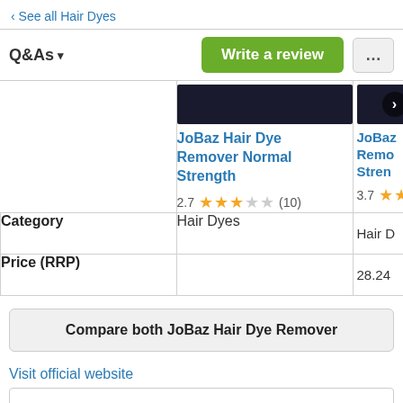< See all Hair Dyes
Q&As ▾
Write a review
|  | JoBaz Hair Dye Remover Normal Strength | JoBaz Remo Stren... |
| --- | --- | --- |
|  | 2.7 ★★★☆☆ (10) | 3.7 ★★ |
| Category | Hair Dyes | Hair D... |
| Price (RRP) |  | 28.24 |
Compare both JoBaz Hair Dye Remover
Visit official website